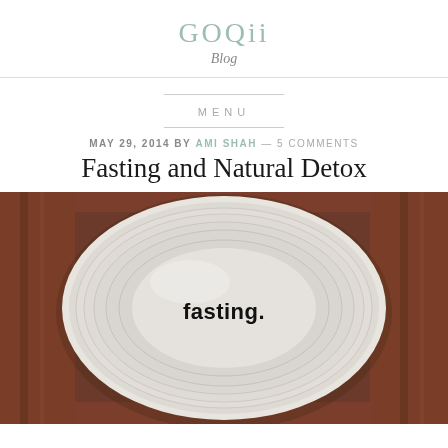GOQii Blog
MENU
MAY 29, 2014 BY AMI SHAH — 5 COMMENTS
Fasting and Natural Detox
[Figure (photo): Top-down view of a white ceramic plate with concentric ridges on a wooden table surface. The word 'fasting.' is printed in bold black sans-serif text in the center of the plate.]